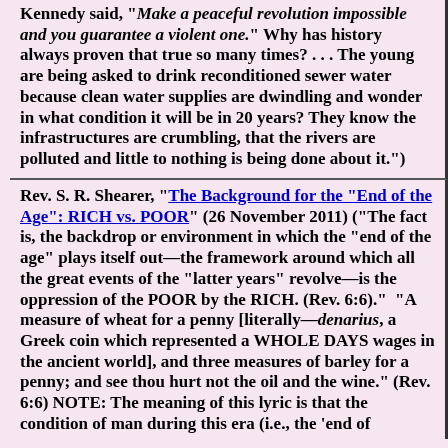Kennedy said, "Make a peaceful revolution impossible and you guarantee a violent one." Why has history always proven that true so many times? . . . The young are being asked to drink reconditioned sewer water because clean water supplies are dwindling and wonder in what condition it will be in 20 years? They know the infrastructures are crumbling, that the rivers are polluted and little to nothing is being done about it.")
Rev. S. R. Shearer, “The Background for the "End of the Age": RICH vs. POOR” (26 November 2011) ("The fact is, the backdrop or environment in which the "end of the age" plays itself out—the framework around which all the great events of the "latter years" revolve—is the oppression of the POOR by the RICH. (Rev. 6:6)."  “A measure of wheat for a penny [literally—denarius, a Greek coin which represented a WHOLE DAYS wages in the ancient world], and three measures of barley for a penny; and see thou hurt not the oil and the wine.” (Rev. 6:6) NOTE: The meaning of this lyric is that the condition of man during this era (i.e., the 'end of